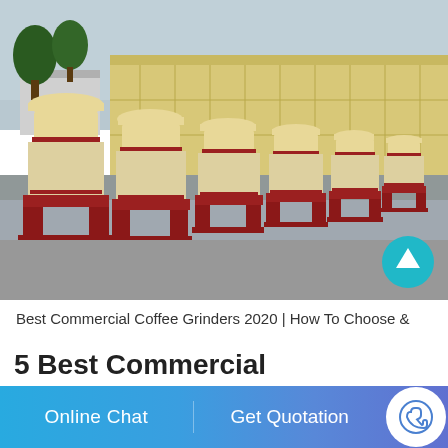[Figure (photo): A row of large industrial cream/beige colored grinding machines (mills) with dark red bases and frames, lined up in an outdoor industrial yard. Sky and a large building are visible in the background along with some trees. A teal/cyan circular scroll-up button is overlaid in the bottom-right corner of the image.]
Best Commercial Coffee Grinders 2020 | How To Choose &
5 Best Commercial
Online Chat    Get Quotation